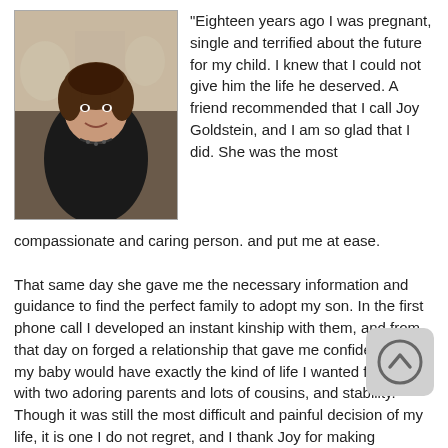[Figure (photo): Portrait photo of a woman with dark hair, wearing a black top and necklace, smiling at the camera in what appears to be a restaurant setting.]
"Eighteen years ago I was pregnant, single and terrified about the future for my child.  I knew that I could not give him the life he deserved.  A friend recommended that I call Joy Goldstein, and I am so glad that I did.  She was the most compassionate and caring person. and put me at ease.
That same day she gave me the necessary information and guidance to find the perfect family to adopt my son.  In the first phone call I developed an instant kinship with them, and from that day on forged a relationship that gave me confidence that my baby would have exactly the kind of life I wanted for him, with two adoring parents and lots of cousins, and stability.  Though it was still the most difficult and painful decision of my life, it is one I do not regret, and I thank Joy for making everything so much easier.  I love Joy Goldstein, and am eternally grateful for the years of support and kindness.  If you are pregnant and going through the same difficult decision I had to make and want to talk please let Joy know and she can arrange that with me.